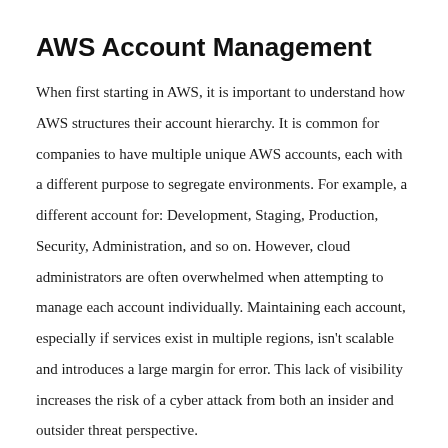AWS Account Management
When first starting in AWS, it is important to understand how AWS structures their account hierarchy. It is common for companies to have multiple unique AWS accounts, each with a different purpose to segregate environments. For example, a different account for: Development, Staging, Production, Security, Administration, and so on. However, cloud administrators are often overwhelmed when attempting to manage each account individually. Maintaining each account, especially if services exist in multiple regions, isn't scalable and introduces a large margin for error. This lack of visibility increases the risk of a cyber attack from both an insider and outsider threat perspective.